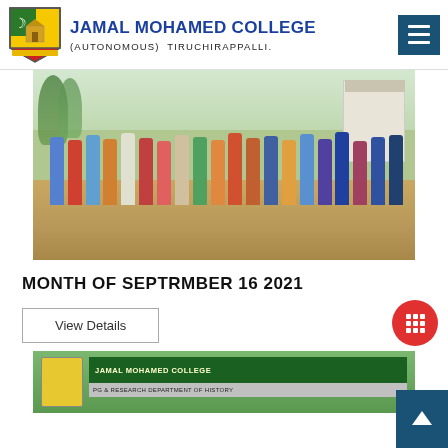JAMAL MOHAMED COLLEGE (AUTONOMOUS) TIRUCHIRAPPALLI.
[Figure (photo): Group photo of approximately 20 male students/staff standing in a row outdoors on a sandy ground with trees and a building in the background.]
MONTH OF SEPTRMBER 16 2021
View Details
[Figure (photo): Partial view of an indoor event with a green banner reading JAMAL MOHAMED COLLEGE and a sub-banner for a department of history event.]